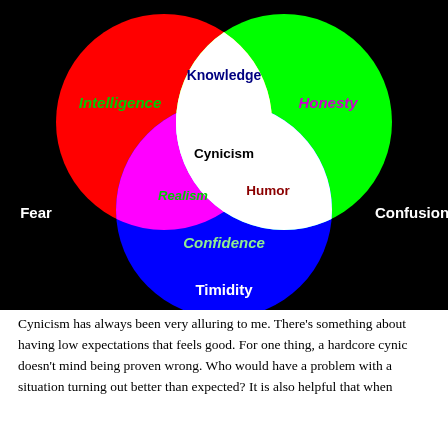[Figure (infographic): Venn diagram with three overlapping circles on a black background. Top-left circle is red (Intelligence), top-right circle is green (Honesty), bottom circle is blue (Confidence). Overlaps: red+green = yellow (Knowledge), red+blue = magenta (Realism), green+blue = cyan (Humor), center of all three = white (Cynicism). Outside labels: Fear (left), Confusion (right), Timidity (bottom).]
Cynicism has always been very alluring to me. There’s something about having low expectations that feels good. For one thing, a hardcore cynic doesn’t mind being proven wrong. Who would have a problem with a situation turning out better than expected? It is also helpful that when